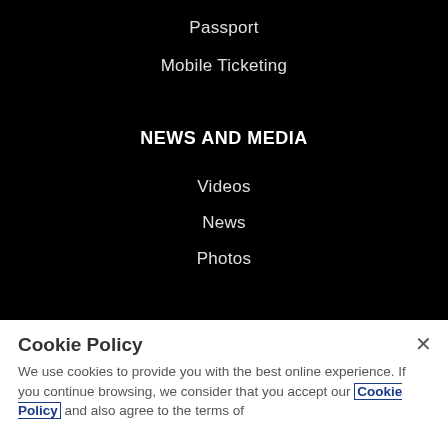Passport
Mobile Ticketing
NEWS AND MEDIA
Videos
News
Photos
APP
Cookie Policy
We use cookies to provide you with the best online experience. If you continue browsing, we consider that you accept our Cookie Policy and also agree to the terms of